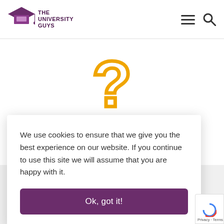[Figure (logo): The University Guys logo with graduation cap icon in purple and dark text]
[Figure (illustration): Large orange question mark icon]
FAQs
We use cookies to ensure that we give you the best experience on our website. If you continue to use this site we will assume that you are happy with it.
Ok, got it!